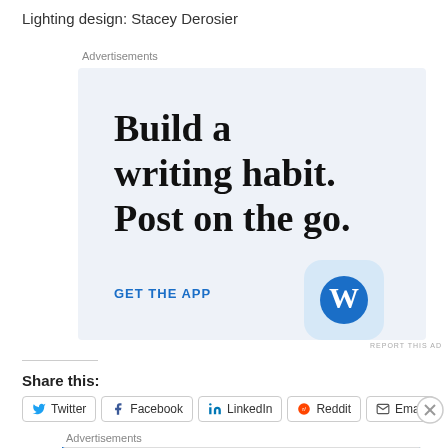Lighting design: Stacey Derosier
Advertisements
[Figure (infographic): WordPress app advertisement with large serif text 'Build a writing habit. Post on the go.' and a 'GET THE APP' call to action link with the WordPress logo icon on a light blue background]
REPORT THIS AD
Share this:
Twitter  Facebook  LinkedIn  Reddit  Email
Advertisements
[Figure (infographic): Pressable advertisement banner: 'ThePlatform Where WordPress Works Best' with Pressable logo on the right]